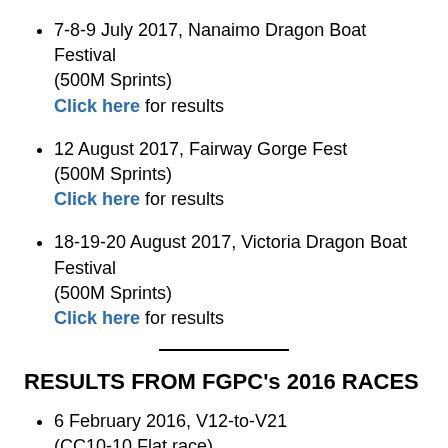7-8-9 July 2017, Nanaimo Dragon Boat Festival (500M Sprints) Click here for results
12 August 2017, Fairway Gorge Fest (500M Sprints) Click here for results
18-19-20 August 2017, Victoria Dragon Boat Festival (500M Sprints) Click here for results
RESULTS FROM FGPC's 2016 RACES
6 February 2016, V12-to-V21